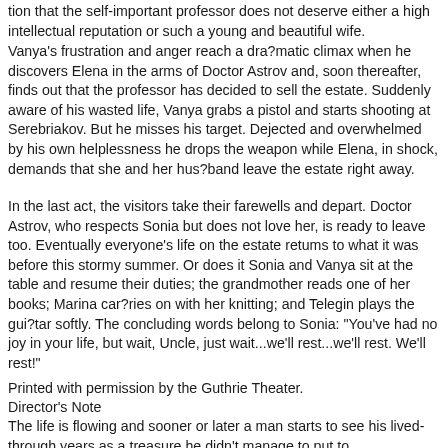tion that the self-important professor does not deserve either a high intellectual reputation or such a young and beautiful wife.
Vanya's frustration and anger reach a dra?matic climax when he discovers Elena in the arms of Doctor Astrov and, soon thereafter, finds out that the professor has decided to sell the estate. Suddenly aware of his wasted life, Vanya grabs a pistol and starts shooting at Serebriakov. But he misses his target. Dejected and overwhelmed by his own helplessness he drops the weapon while Elena, in shock, demands that she and her hus?band leave the estate right away.
In the last act, the visitors take their farewells and depart. Doctor Astrov, who respects Sonia but does not love her, is ready to leave too. Eventually everyone's life on the estate retums to what it was before this stormy summer. Or does it Sonia and Vanya sit at the table and resume their duties; the grandmother reads one of her books; Marina car?ries on with her knitting; and Telegin plays the gui?tar softly. The concluding words belong to Sonia: "You've had no joy in your life, but wait, Uncle, just wait...we'll rest...we'll rest. We'll rest!"
Printed with permission by the Guthrie Theater.
Director's Note
The life is flowing and sooner or later a man starts to see his lived-through years as a treasure he didn't manage to put to